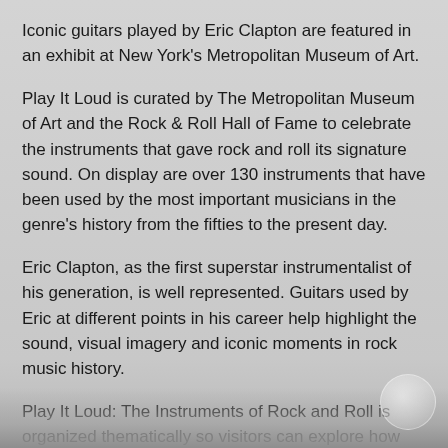Iconic guitars played by Eric Clapton are featured in an exhibit at New York's Metropolitan Museum of Art.
Play It Loud is curated by The Metropolitan Museum of Art and the Rock & Roll Hall of Fame to celebrate the instruments that gave rock and roll its signature sound. On display are over 130 instruments that have been used by the most important musicians in the genre's history from the fifties to the present day.
Eric Clapton, as the first superstar instrumentalist of his generation, is well represented. Guitars used by Eric at different points in his career help highlight the sound, visual imagery and iconic moments in rock music history.
Play It Loud: The Instruments of Rock and Roll is organized thematically so visitors can explore how musicians advanced emerging and experimental technologies, the Guitar Gods Phenomenon, the crafting of a visual identity through the use of instruments and costumes, and genre-defining moments.
In the section dedicated to "Guitar Gods", Eric's most famous guitar, the composite Fender Stratocaster Blackie, is highlighted. At a time